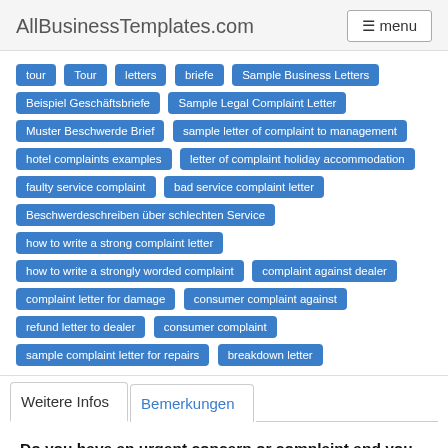AllBusinessTemplates.com  menu
tour
Tour
letters
briefe
Sample Business Letters
Beispiel Geschäftsbriefe
Sample Legal Complaint Letter
Muster Beschwerde Brief
sample letter of complaint to management
hotel complaints examples
letter of complaint holiday accommodation
faulty service complaint
bad service complaint letter
Beschwerdeschreiben über schlechten Service
how to write a strong complaint letter
how to write a strongly worded complaint
complaint against dealer
complaint letter for damage
consumer complaint against
refund letter to dealer
consumer complaint
sample complaint letter for repairs
breakdown letter
Weitere Infos  Bemerkungen
Do you have an urgent concern or complaint and you want to write a Business Formal Complaint Letter? Download this Complaint Letter now!
In this case, we know you don't want to spend more time on the